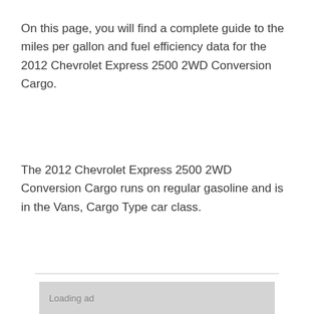On this page, you will find a complete guide to the miles per gallon and fuel efficiency data for the 2012 Chevrolet Express 2500 2WD Conversion Cargo.
The 2012 Chevrolet Express 2500 2WD Conversion Cargo runs on regular gasoline and is in the Vans, Cargo Type car class.
[Figure (other): Loading ad placeholder box with gray background]